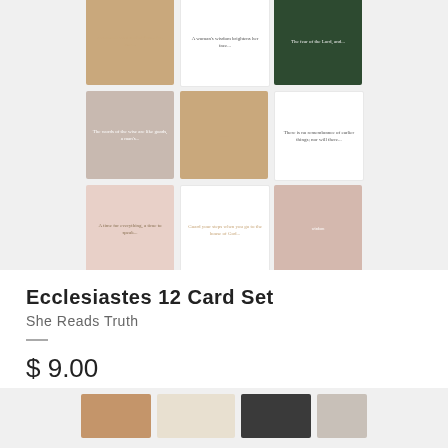[Figure (photo): Product image showing a 3x3 grid of greeting cards with various designs including tan/gold bordered cards, nature photography cards with plants and flowers, white cards with scripture text, and pink/blush cards]
Ecclesiastes 12 Card Set
She Reads Truth
$ 9.00
$ 12.00
[Figure (photo): Bottom portion of next product image showing cards in tan, cream, and dark/charcoal colors]